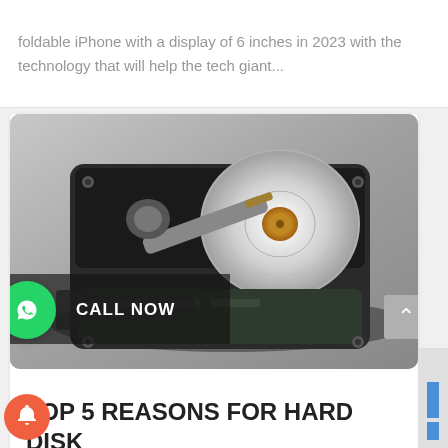foldable iPhone with a display of 6 inches in 2023 with the technology that will help the tech giant...
[Figure (photo): Open hard disk drive (HDD) photographed on a grey surface, showing internal components including platters, read/write arm, and spindle motor. A semi-transparent dark overlay with 'CALL NOW' text and a WhatsApp phone icon button appears in the lower-left of the image.]
TOP 5 REASONS FOR HARD DISK FAILURE?